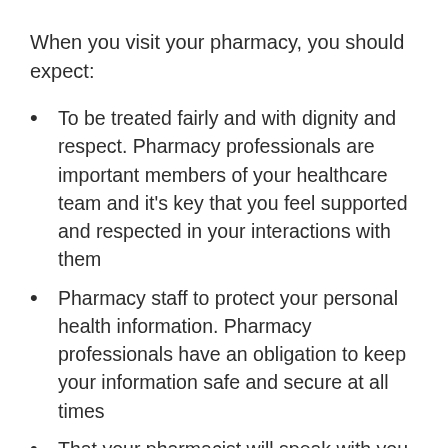When you visit your pharmacy, you should expect:
To be treated fairly and with dignity and respect. Pharmacy professionals are important members of your healthcare team and it’s key that you feel supported and respected in your interactions with them
Pharmacy staff to protect your personal health information. Pharmacy professionals have an obligation to keep your information safe and secure at all times
That your pharmacist will speak with you in a private or quiet area of the pharmacy to discuss your health and medications, if